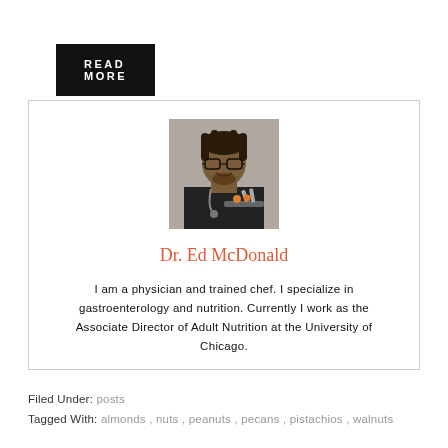READ MORE
[Figure (photo): Portrait photo of Dr. Ed McDonald, a man with glasses and dreadlocks, wearing a dark chef/medical coat, holding cooking utensils over a pan]
Dr. Ed McDonald
I am a physician and trained chef. I specialize in gastroenterology and nutrition. Currently I work as the Associate Director of Adult Nutrition at the University of Chicago.
Filed Under: posts
Tagged With: almonds, nuts, peanuts, pecans, pistachios, walnuts